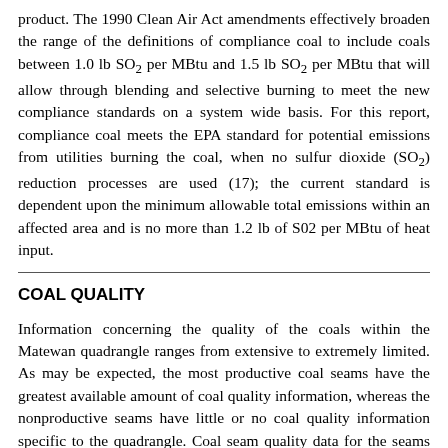product. The 1990 Clean Air Act amendments effectively broaden the range of the definitions of compliance coal to include coals between 1.0 lb SO2 per MBtu and 1.5 lb SO2 per MBtu that will allow through blending and selective burning to meet the new compliance standards on a system wide basis. For this report, compliance coal meets the EPA standard for potential emissions from utilities burning the coal, when no sulfur dioxide (SO2) reduction processes are used (17); the current standard is dependent upon the minimum allowable total emissions within an affected area and is no more than 1.2 lb of S02 per MBtu of heat input.
COAL QUALITY
Information concerning the quality of the coals within the Matewan quadrangle ranges from extensive to extremely limited. As may be expected, the most productive coal seams have the greatest available amount of coal quality information, whereas the nonproductive seams have little or no coal quality information specific to the quadrangle. Coal seam quality data for the seams of the Matewan quadrangle is presented in table 3. It should be noted that seams of high production, such as the Upper Elkhorn 1B and the Lower Elkhorn, have more statistically supportable averages than others of lower production.